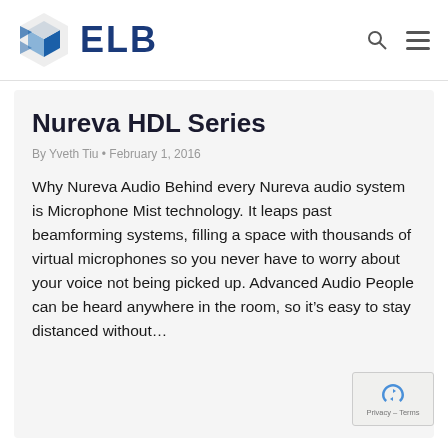ELB
Nureva HDL Series
By Yveth Tiu • February 1, 2016
Why Nureva Audio Behind every Nureva audio system is Microphone Mist technology. It leaps past beamforming systems, filling a space with thousands of virtual microphones so you never have to worry about your voice not being picked up. Advanced Audio People can be heard anywhere in the room, so it's easy to stay distanced without…